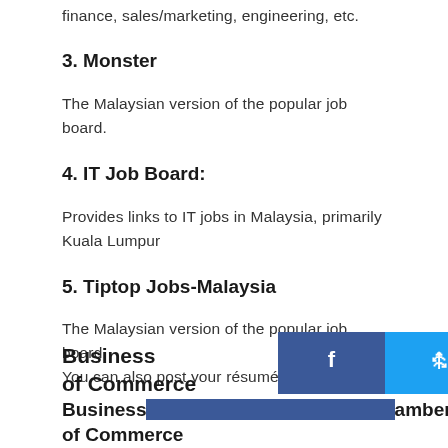finance, sales/marketing, engineering, etc.
3. Monster
The Malaysian version of the popular job board.
4. IT Job Board:
Provides links to IT jobs in Malaysia, primarily Kuala Lumpur
5. Tiptop Jobs-Malaysia
The Malaysian version of the popular job board. You can also post your résumé.
Business Chambers of Commerce